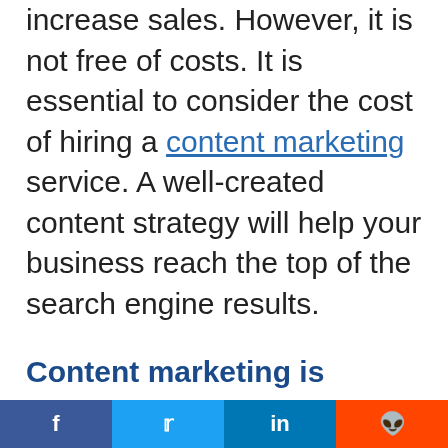increase sales. However, it is not free of costs. It is essential to consider the cost of hiring a content marketing service. A well-created content strategy will help your business reach the top of the search engine results.
Content marketing is essential for business because it allows a company to create a positive relationship with its audience. The most effective content marketing strategies are tailored to th...
f  t  in  reddit